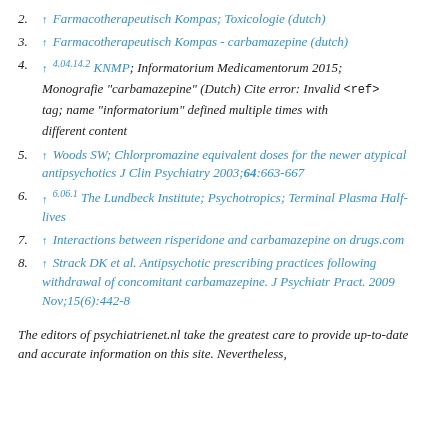2. ↑ Farmacotherapeutisch Kompas; Toxicologie (dutch)
3. ↑ Farmacotherapeutisch Kompas - carbamazepine (dutch)
4. ↑ 4.04.14.2 KNMP; Informatorium Medicamentorum 2015; Monografie "carbamazepine" (Dutch) Cite error: Invalid <ref> tag; name "informatorium" defined multiple times with different content
5. ↑ Woods SW; Chlorpromazine equivalent doses for the newer atypical antipsychotics J Clin Psychiatry 2003;64:663-667
6. ↑ 6.06.1 The Lundbeck Institute; Psychotropics; Terminal Plasma Half-lives
7. ↑ Interactions between risperidone and carbamazepine on drugs.com
8. ↑ Strack DK et al. Antipsychotic prescribing practices following withdrawal of concomitant carbamazepine. J Psychiatr Pract. 2009 Nov;15(6):442-8
The editors of psychiatrienet.nl take the greatest care to provide up-to-date and accurate information on this site. Nevertheless,